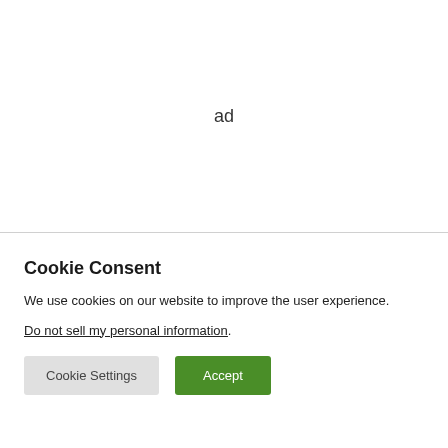ad
Cookie Consent
We use cookies on our website to improve the user experience.
Do not sell my personal information.
Cookie Settings
Accept